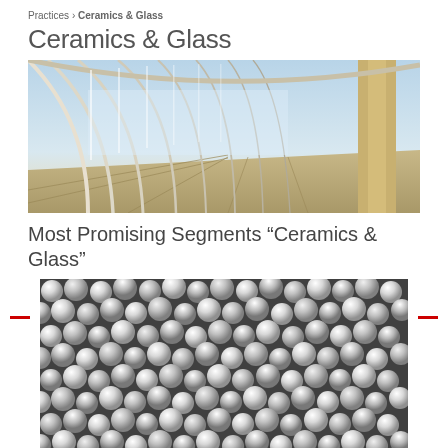Practices › Ceramics & Glass
Ceramics & Glass
[Figure (photo): Interior of a large architectural space with curved white arches and glass walls, showing a perspective corridor with columns and reflective floor]
Most Promising Segments “Ceramics & Glass”
[Figure (photo): Close-up macro photograph of many small white ceramic spherical pellets/beads filling the entire frame, in black and white]